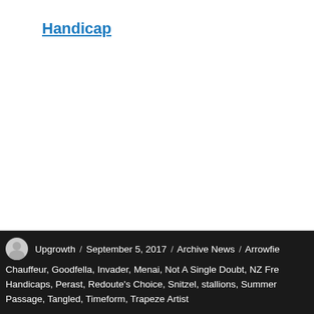Handicap
Upgrowth / September 5, 2017 / Archive News / Arrowfie... Chauffeur, Goodfella, Invader, Menai, Not A Single Doubt, NZ Fre... Handicaps, Perast, Redoute's Choice, Snitzel, stallions, Summer Passage, Tangled, Timeform, Trapeze Artist